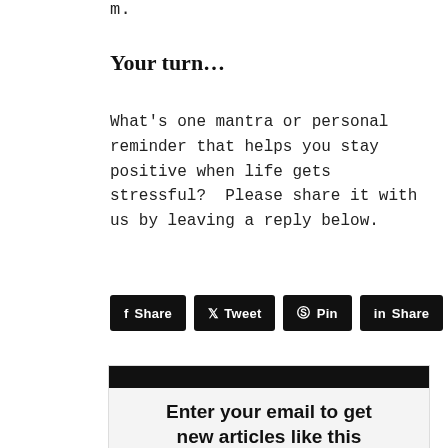m.
Your turn…
What's one mantra or personal reminder that helps you stay positive when life gets stressful?  Please share it with us by leaving a reply below.
[Figure (infographic): Social sharing buttons: Share (Facebook), Tweet (Twitter), Pin (Pinterest), Share (LinkedIn)]
[Figure (infographic): Email signup box with black header bar and text: Enter your email to get new articles like this delivered for free. Join 130,000+ subscribers and get life-]
Join 130,000+ subscribers and get life-